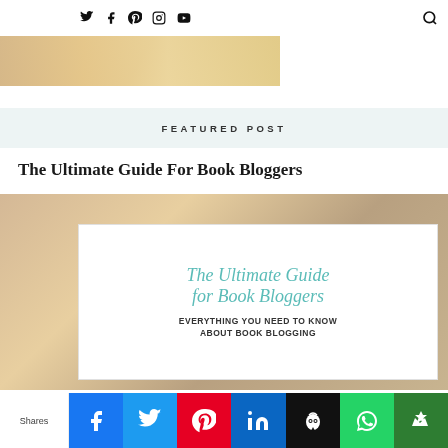Social icons: Twitter, Facebook, Pinterest, Instagram, YouTube; Search icon
[Figure (photo): Partial top image showing a warm-toned desk/book scene]
FEATURED POST
The Ultimate Guide For Book Bloggers
[Figure (photo): Featured image for 'The Ultimate Guide for Book Bloggers' — shows a person at a desk with an overlay text card reading 'The Ultimate Guide for Book Bloggers' in cursive and 'EVERYTHING YOU NEED TO KNOW ABOUT BOOK BLOGGING' in bold caps]
Shares | Facebook | Twitter | Pinterest | LinkedIn | Hootsuite | WhatsApp | Crown/bookmark